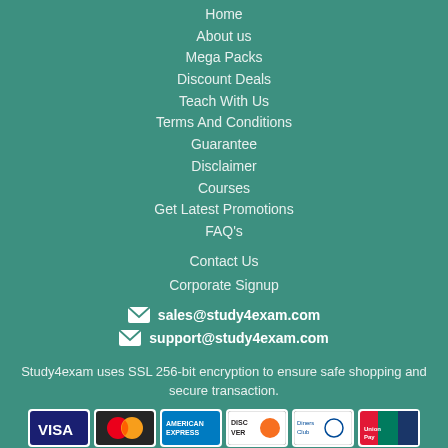Home
About us
Mega Packs
Discount Deals
Teach With Us
Terms And Conditions
Guarantee
Disclaimer
Courses
Get Latest Promotions
FAQ's
Contact Us
Corporate Signup
sales@study4exam.com
support@study4exam.com
Study4exam uses SSL 256-bit encryption to ensure safe shopping and secure transaction.
[Figure (other): Payment method logos: VISA, Mastercard, American Express, Discover, Diners Club, UnionPay]